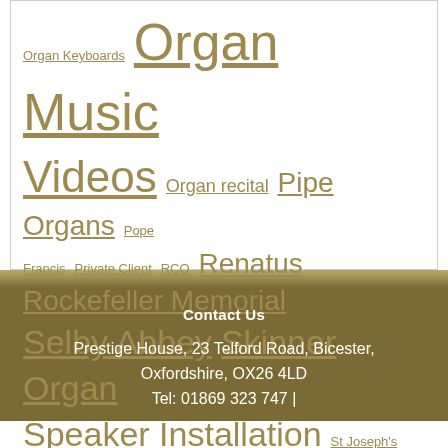Organ Keyboards Organ Music Videos Organ recital Pipe Organs Pope Francis Private Client RCO Renatus Rockefeller Memorial Selby Abbey Skinner Organ Speaker Installation St Joseph's Church St Mary's Chalgrove St Mary's Church of Witney St Peter's Caversham St Peter's Church UAE Voicing Wellington Cathedral
Contact Us
Prestige House, 23 Telford Road, Bicester, Oxfordshire, OX26 4LD
Tel: 01869 323 747 |